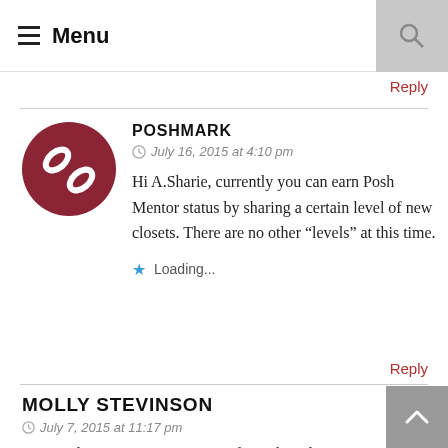≡ Menu
Reply
POSHMARK
July 16, 2015 at 4:10 pm
Hi A.Sharie, currently you can earn Posh Mentor status by sharing a certain level of new closets. There are no other “levels” at this time.
Loading...
Reply
MOLLY STEVINSON
July 7, 2015 at 11:17 pm
You've done it again! You've made Poshmark